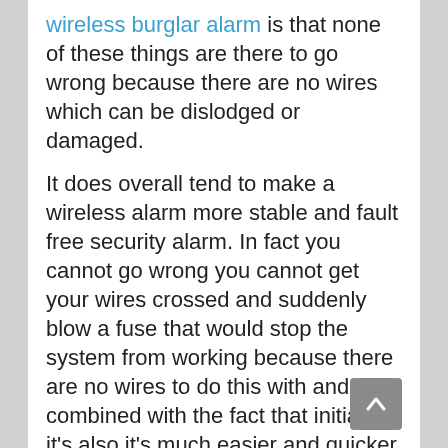wireless burglar alarm is that none of these things are there to go wrong because there are no wires which can be dislodged or damaged.
It does overall tend to make a wireless alarm more stable and fault free security alarm. In fact you cannot go wrong you cannot get your wires crossed and suddenly blow a fuse that would stop the system from working because there are no wires to do this with and combined with the fact that initially it's also it's much easier and quicker to install .
I'm sure it makes common sense that the reality is that the